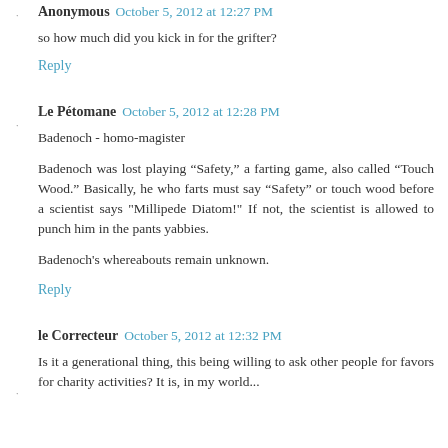Anonymous  October 5, 2012 at 12:27 PM
so how much did you kick in for the grifter?
Reply
Le Pétomane  October 5, 2012 at 12:28 PM
Badenoch - homo-magister
Badenoch was lost playing “Safety,” a farting game, also called “Touch Wood.” Basically, he who farts must say “Safety” or touch wood before a scientist says "Millipede Diatom!" If not, the scientist is allowed to punch him in the pants yabbies.
Badenoch's whereabouts remain unknown.
Reply
le Correcteur  October 5, 2012 at 12:32 PM
Is it a generational thing, this being willing to ask other people for favors for charity activities? It is, in my world...